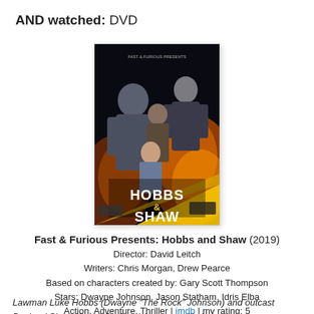AND watched: DVD
[Figure (photo): Movie poster for Fast & Furious Presents: Hobbs and Shaw (2019), showing Dwayne Johnson, Jason Statham, and other cast members with action imagery and the film title 'Hobbs & Shaw' prominently displayed.]
Fast & Furious Presents: Hobbs and Shaw (2019)
Director: David Leitch
Writers: Chris Morgan, Drew Pearce
Based on characters created by: Gary Scott Thompson
Stars: Dwayne Johnson, Jason Statham, Idris Elba
Action, Adventure, Thriller | imdb | my rating: 5
Lawman Luke Hobbs (Dwayne "The Rock" Johnson) and outcast Deckard Shaw (Jason Statham) form an unlikely